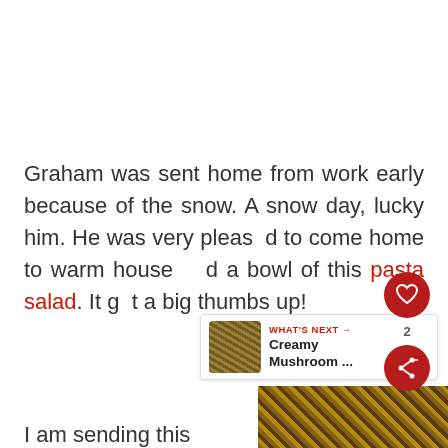Graham was sent home from work early because of the snow. A snow day, lucky him. He was very pleased to come home to warm house and a bowl of this pasta salad. It got a big thumbs up!
[Figure (other): Social sharing UI overlay: heart/favorite button (dark red circle with heart icon) and share button (dark red circle with share icon) with count of 2, positioned on the right side of the text block]
[Figure (other): What's Next widget showing a small circular food photo thumbnail with label 'WHAT'S NEXT →' in red and title 'Creamy Mushroom ...']
I am sending this
[Figure (photo): Food photo (pasta dish) partially visible at bottom right of page]